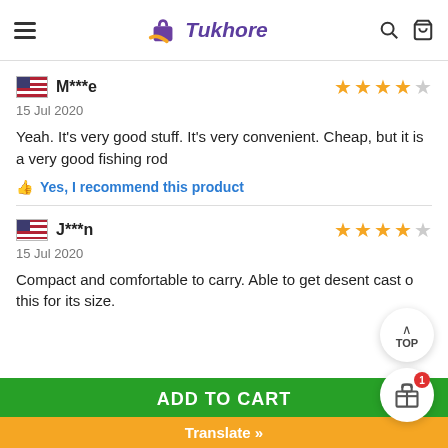Tukhore — navigation header with menu, logo, search, cart
M***e — 15 Jul 2020 — 4 stars
Yeah. It's very good stuff. It's very convenient. Cheap, but it is a very good fishing rod
Yes, I recommend this product
J***n — 15 Jul 2020 — 4 stars
Compact and comfortable to carry. Able to get desent cast o this for its size.
ADD TO CART
Translate »